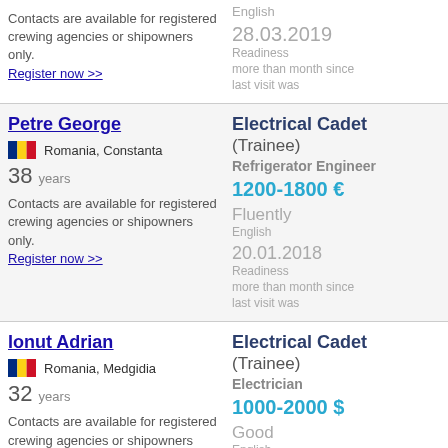Contacts are available for registered crewing agencies or shipowners only. Register now >>
English
28.03.2019
Readiness
more than month since last visit was
Petre George
Romania, Constanta
38 years
Contacts are available for registered crewing agencies or shipowners only. Register now >>
Electrical Cadet (Trainee)
Refrigerator Engineer
1200-1800 €
Fluently
English
20.01.2018
Readiness
more than month since last visit was
Ionut Adrian
Romania, Medgidia
32 years
Contacts are available for registered crewing agencies or shipowners only. Register now >>
Electrical Cadet (Trainee)
Electrician
1000-2000 $
Good
English
04.09.2017
Readiness